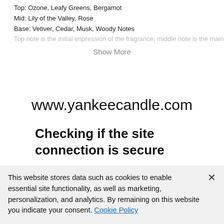Top: Ozone, Leafy Greens, Bergamot
Mid: Lily of the Valley, Rose
Base: Vetiver, Cedar, Musk, Woody Notes
Top note is the initial impression of the fragrance, middle note is the main…
Show More
www.yankeecandle.com
Checking if the site connection is secure
www.yankeecandle.com needs to review the security of your connection before proceeding.
This website stores data such as cookies to enable essential site functionality, as well as marketing, personalization, and analytics. By remaining on this website you indicate your consent. Cookie Policy